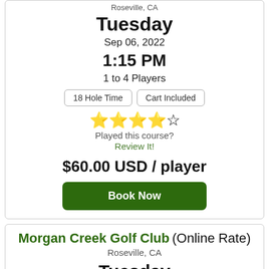Roseville, CA
Tuesday
Sep 06, 2022
1:15 PM
1 to 4 Players
18 Hole Time | Cart Included
[Figure (other): 3.5 out of 5 stars rating]
Played this course? Review It!
$60.00 USD / player
Book Now
Morgan Creek Golf Club (Online Rate)
Roseville, CA
Tuesday